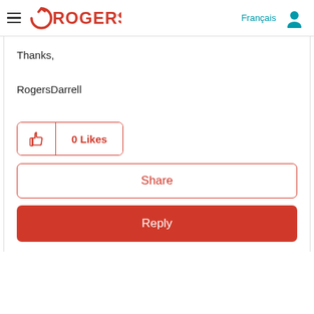Rogers — Français (navigation header with hamburger menu and user icon)
Thanks,
RogersDarrell
[Figure (other): 0 Likes button with thumbs-up icon, red border]
[Figure (other): Share button with red border]
[Figure (other): Reply button with red background]